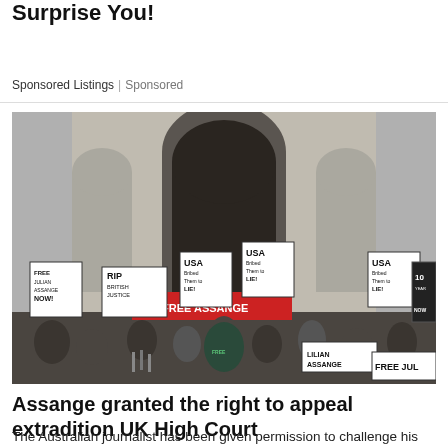Warehouse Worker Salaries in the UK May Surprise You!
Sponsored Listings | Sponsored
[Figure (photo): Protesters outside UK High Court building holding signs reading 'FREE JULIAN ASSANGE NOW!', 'USA Bribed Them to LIE!', 'RIP BRITISH JUSTICE', 'FREE JUL[IAN]', 'LILIAN ASSANGE'. Large Gothic stone arch entrance in background. Crowd of protesters with placards.]
Assange granted the right to appeal extradition UK High Court
The Australian journalist has been given permission to challenge his extradition to the US        On Monday, the ...